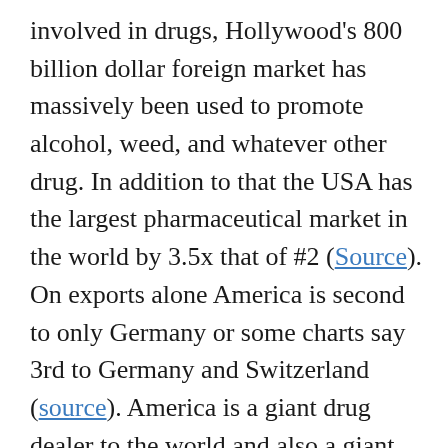involved in drugs, Hollywood's 800 billion dollar foreign market has massively been used to promote alcohol, weed, and whatever other drug. In addition to that the USA has the largest pharmaceutical market in the world by 3.5x that of #2 (Source). On exports alone America is second to only Germany or some charts say 3rd to Germany and Switzerland (source). America is a giant drug dealer to the world and also a giant drug use promoter worldwide. Are you starting to get the picture yet? God has every right to be- in fact He wouldn't be caring if he wasn't- very upset with this filthy whore. And she is about to pay big time.